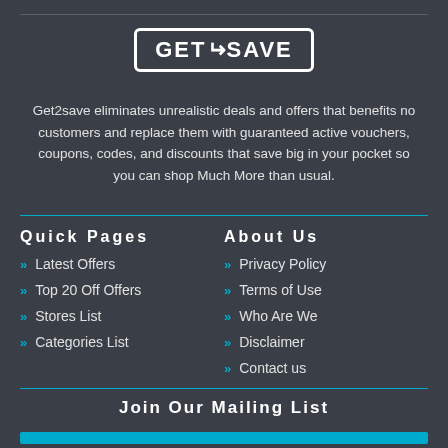[Figure (logo): GET2SAVE logo — white text in a white-bordered rounded rectangle]
Get2save eliminates unrealistic deals and offers that benefits no customers and replace them with guaranteed active vouchers, coupons, codes, and discounts that save big in your pocket so you can shop Much More than usual.
Quick Pages
Latest Offers
Top 20 Off Offers
Stores List
Categories List
About Us
Privacy Policy
Terms of Use
Who Are We
Disclaimer
Contact us
Join Our Mailing List